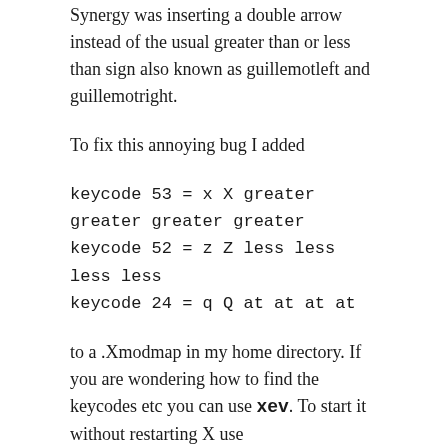Synergy was inserting a double arrow instead of the usual greater than or less than sign also known as guillemotleft and guillemotright.
To fix this annoying bug I added
keycode 53 = x X greater greater greater greater
keycode 52 = z Z less less less less
keycode 24 = q Q at at at at
to a .Xmodmap in my home directory. If you are wondering how to find the keycodes etc you can use xev. To start it without restarting X use
xmodmap .Xmodmap
MAY 11, 2010
Superstition is Rife among developers